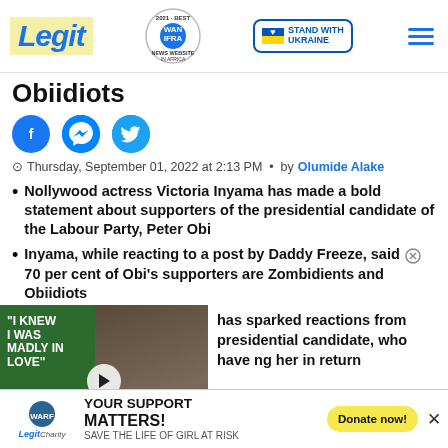Legit | WAN IFRA 2021 Best News Website in Africa | Stand with Ukraine
Obiidiots
[Figure (infographic): Social media share icons: Facebook, Messenger, Twitter]
Thursday, September 01, 2022 at 2:13 PM  •  by  Olumide Alake
Nollywood actress Victoria Inyama has made a bold statement about supporters of the presidential candidate of the Labour Party, Peter Obi
Inyama, while reacting to a post by Daddy Freeze, said 70 per cent of Obi's supporters are Zombidients and Obiidiots
has sparked reactions from presidential candidate, who have ing her in return
a live of girl at risk
[Figure (screenshot): Video thumbnail with green background overlay showing quote 'I KNEW I WAS MADLY IN LOVE' with a play button, showing two people photo, and a red down arrow button]
YOUR SUPPORT MATTERS! SAVE THE LIFE OF GIRL AT RISK — Legit Charity / WARF — Donate now!